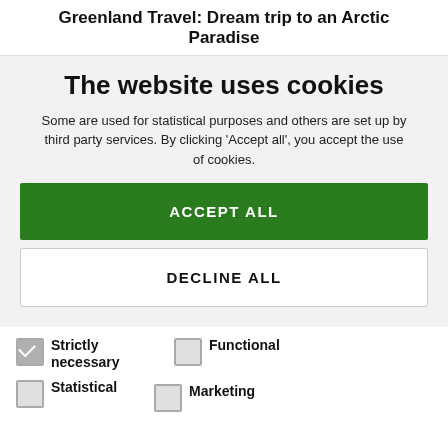Greenland Travel: Dream trip to an Arctic Paradise
The website uses cookies
Some are used for statistical purposes and others are set up by third party services. By clicking 'Accept all', you accept the use of cookies.
ACCEPT ALL
DECLINE ALL
Strictly necessary
Functional
Statistical
Marketing
SHOW DETAILS